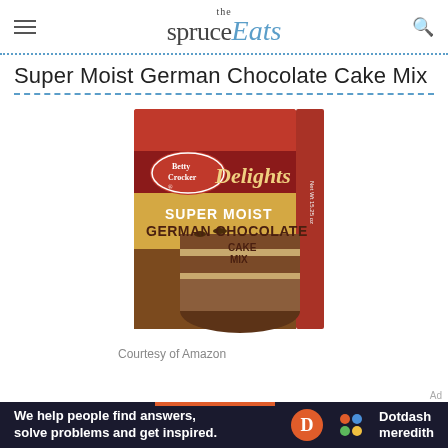the spruce Eats
Super Moist German Chocolate Cake Mix
[Figure (photo): Betty Crocker Delights Super Moist German Chocolate Cake Mix box showing a chocolate layer cake slice]
Courtesy of Amazon
[Figure (infographic): Dotdash Meredith ad banner: We help people find answers, solve problems and get inspired.]